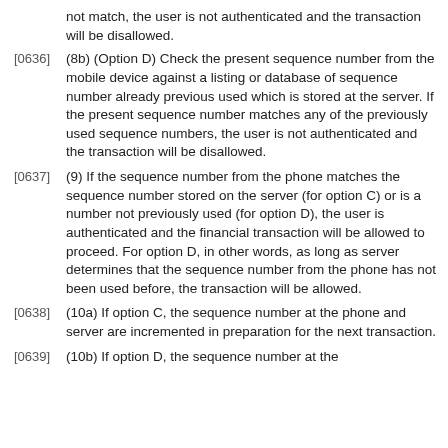not match, the user is not authenticated and the transaction will be disallowed.
[0636] (8b) (Option D) Check the present sequence number from the mobile device against a listing or database of sequence number already previous used which is stored at the server. If the present sequence number matches any of the previously used sequence numbers, the user is not authenticated and the transaction will be disallowed.
[0637] (9) If the sequence number from the phone matches the sequence number stored on the server (for option C) or is a number not previously used (for option D), the user is authenticated and the financial transaction will be allowed to proceed. For option D, in other words, as long as server determines that the sequence number from the phone has not been used before, the transaction will be allowed.
[0638] (10a) If option C, the sequence number at the phone and server are incremented in preparation for the next transaction.
[0639] (10b) If option D, the sequence number at the